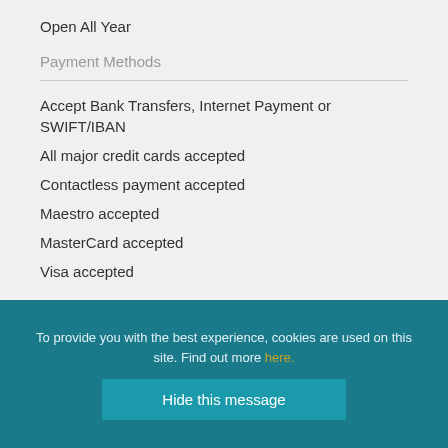Open All Year
Payment Methods
Accept Bank Transfers, Internet Payment or SWIFT/IBAN
All major credit cards accepted
Contactless payment accepted
Maestro accepted
MasterCard accepted
Visa accepted
To provide you with the best experience, cookies are used on this site. Find out more here.
Hide this message